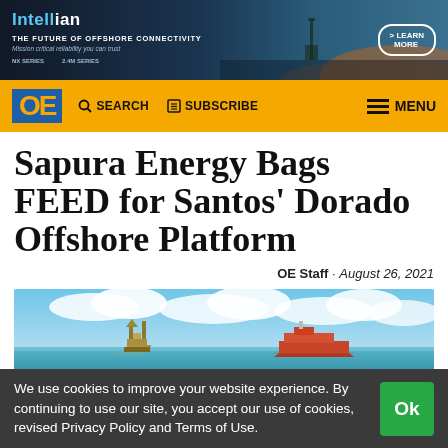[Figure (other): Intellian advertisement banner — THE FUTURE OF OFFSHORE CONNECTIVITY, Mission critical reliability you can trust, NX SERIES, 2.4M SERIES, LEARN MORE]
OE  SEARCH  SUBSCRIBE  MENU
Sapura Energy Bags FEED for Santos' Dorado Offshore Platform
OE Staff · August 26, 2021
[Figure (photo): Offshore photo showing a platform structure on the left and a vessel/ship on the right, calm sea with blue sky and clouds]
We use cookies to improve your website experience. By continuing to use our site, you accept our use of cookies, revised Privacy Policy and Terms of Use.